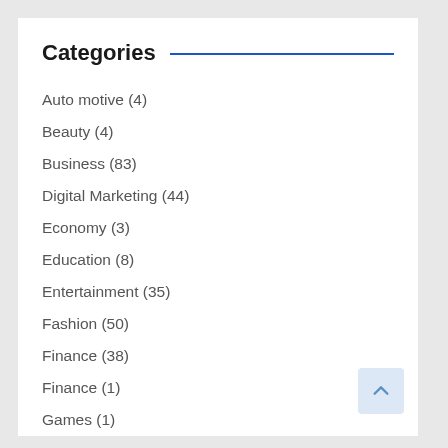Categories
Auto motive (4)
Beauty (4)
Business (83)
Digital Marketing (44)
Economy (3)
Education (8)
Entertainment (35)
Fashion (50)
Finance (38)
Finance (1)
Games (1)
General (11)
Health (4)